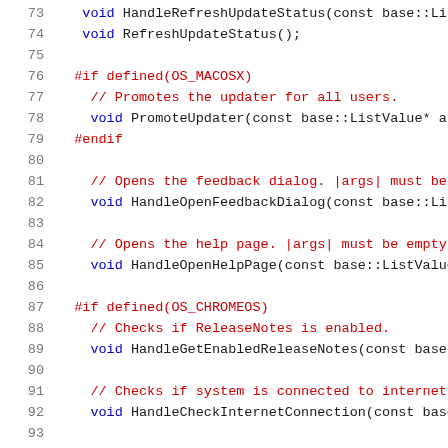[Figure (screenshot): Source code listing in C++ showing lines 73-93, with line numbers in grey on the left, preprocessor directives in red, keywords in blue, and comments in red. Code includes HandleRefreshUpdateStatus, RefreshUpdateStatus, OS_MACOSX block with PromoteUpdater, HandleOpenFeedbackDialog, HandleOpenHelpPage, OS_CHROMEOS block with HandleGetEnabledReleaseNotes and HandleCheckInternetConnection.]